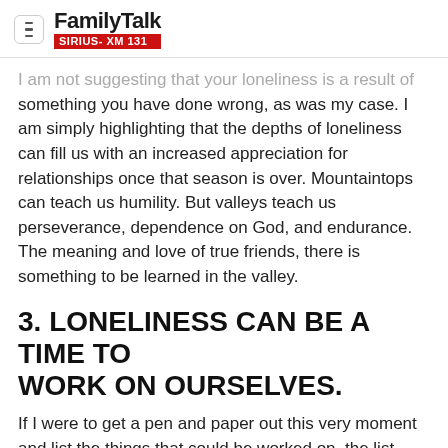FamilyTalk SIRIUS-XM 131
I am not suggesting that your loneliness is a result of something you have done wrong, as was my case. I am simply highlighting that the depths of loneliness can fill us with an increased appreciation for relationships once that season is over. Mountaintops can teach us humility. But valleys teach us perseverance, dependence on God, and endurance. The meaning and love of true friends, there is something to be learned in the valley.
3. LONELINESS CAN BE A TIME TO WORK ON OURSELVES.
If I were to get a pen and paper out this very moment and list the things that could be worked on, the list would be pretty long. There is the physical, such as a few more sit-ups and push-ups—my role as an employer and